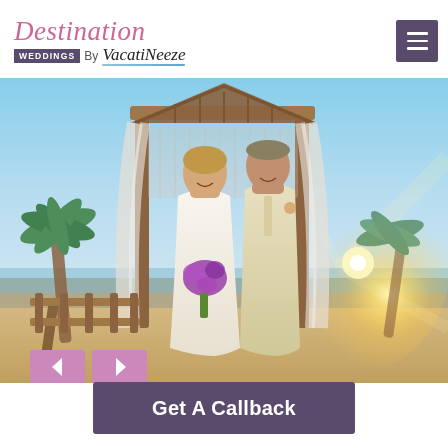[Figure (logo): Destination Weddings By VacatiNeeze logo — 'Destination' in pink italic serif, 'WEDDINGS' in white on dark purple box, 'By' in grey sans-serif, 'VacatiNeeze' in italic serif with blue underline]
[Figure (photo): Wedding couple standing under a wooden beach gazebo/arch draped with white fabric, bride in white dress holding pink/purple bouquet, groom in light beige vest, tropical beach setting with palm trees and bright sunlight]
Get A Callback